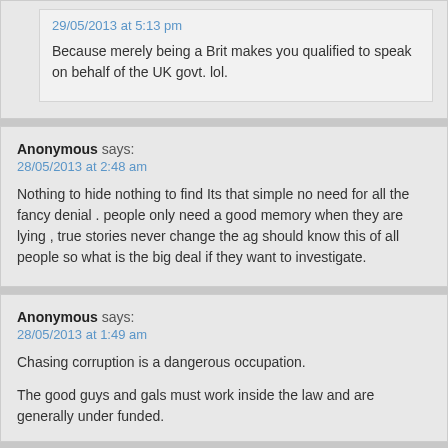29/05/2013 at 5:13 pm
Because merely being a Brit makes you qualified to speak on behalf of the UK govt. lol.
Anonymous says:
28/05/2013 at 2:48 am
Nothing to hide nothing to find Its that simple no need for all the fancy denial . people only need a good memory when they are lying , true stories never change the ag should know this of all people so what is the big deal if they want to investigate.
Anonymous says:
28/05/2013 at 1:49 am
Chasing corruption is a dangerous occupation.
The good guys and gals must work inside the law and are generally under funded.